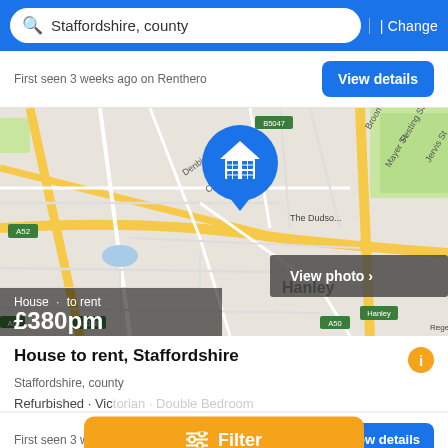Staffordshire, county | Change
First seen 3 weeks ago on Renthero
[Figure (map): Street map of Hanley, Staffordshire area with a blue house location pin in the center. Streets include Broom St, Festing St, Denbigh St, Century St visible. Yellow roads indicate main roads. Green areas visible. Road labels include A52, A50, A500, B5047.]
House · to rent £380pm
House to rent, Staffordshire
Staffordshire, county
Refurbished · Victorian · Double Bedroom
First seen 3 weeks ago on Renthero